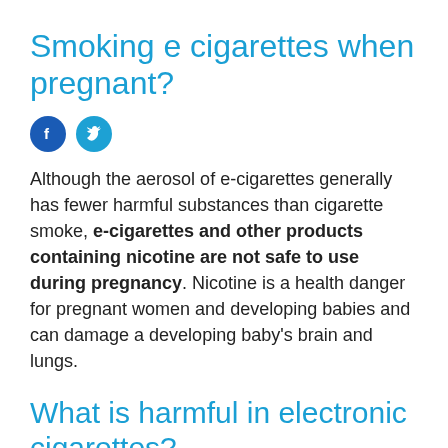Smoking e cigarettes when pregnant?
[Figure (other): Social media share icons: Facebook (dark blue circle with 'f') and Twitter (light blue circle with bird icon)]
Although the aerosol of e-cigarettes generally has fewer harmful substances than cigarette smoke, e-cigarettes and other products containing nicotine are not safe to use during pregnancy. Nicotine is a health danger for pregnant women and developing babies and can damage a developing baby's brain and lungs.
What is harmful in electronic cigarettes?